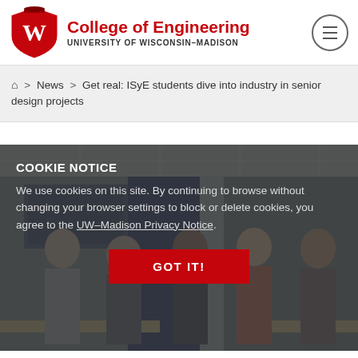College of Engineering UNIVERSITY OF WISCONSIN-MADISON
Home > News > Get real: ISyE students dive into industry in senior design projects
[Figure (photo): Group of students and faculty standing in a classroom/meeting room, overlaid with a cookie consent notice.]
COOKIE NOTICE
We use cookies on this site. By continuing to browse without changing your browser settings to block or delete cookies, you agree to the UW–Madison Privacy Notice.
GOT IT!